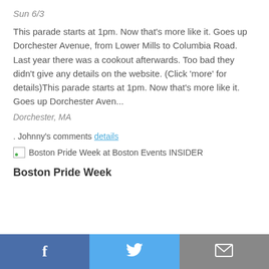Sun 6/3
This parade starts at 1pm. Now that's more like it. Goes up Dorchester Avenue, from Lower Mills to Columbia Road. Last year there was a cookout afterwards. Too bad they didn't give any details on the website. (Click 'more' for details)This parade starts at 1pm. Now that's more like it. Goes up Dorchester Aven...
Dorchester, MA
. Johnny's comments details
[Figure (other): Broken image placeholder with alt text: Boston Pride Week at Boston Events INSIDER]
Boston Pride Week
Facebook | Twitter | Email